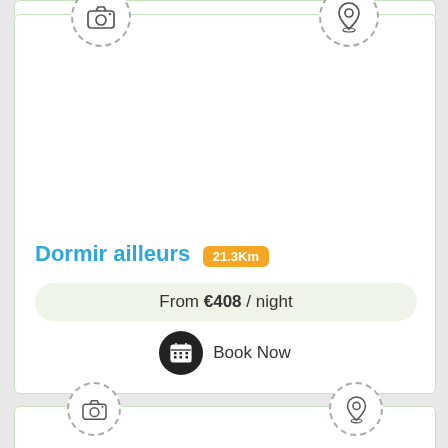[Figure (screenshot): Accommodation listing card for 'Dormir ailleurs' showing camera and map pin placeholder icons, property name, distance badge (21.3Km), price (From €408 / night), and a Book Now button with calendar icon. A partial second card is visible at the bottom.]